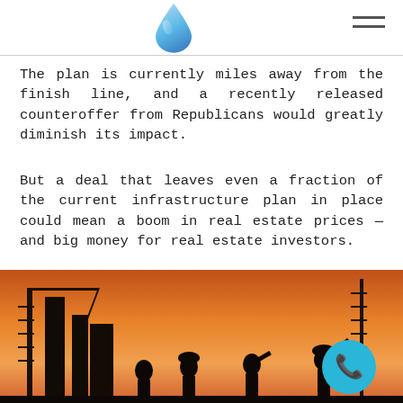[Figure (logo): Blue water drop logo in page header]
The plan is currently miles away from the finish line, and a recently released counteroffer from Republicans would greatly diminish its impact.
But a deal that leaves even a fraction of the current infrastructure plan in place could mean a boom in real estate prices — and big money for real estate investors.
What's in Biden's infrastructure proposal?
[Figure (photo): Silhouette of construction workers against an orange sunset sky with cranes and scaffolding in the background]